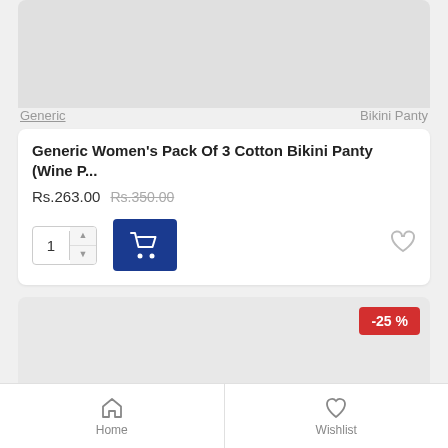[Figure (screenshot): Top portion of a product card showing gray image placeholder area]
Generic    Bikini Panty
Generic Women's Pack Of 3 Cotton Bikini Panty (Wine P...
Rs.263.00  Rs.350.00
[Figure (screenshot): Quantity selector with 1, up/down arrows, blue cart button, and heart wishlist icon]
[Figure (screenshot): Second product card gray placeholder with -25% discount badge and FILTER PRODUCTS green button]
Home    Wishlist